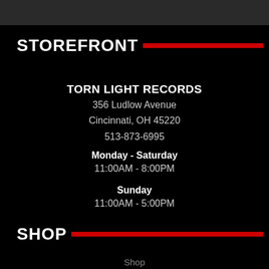STOREFRONT
TORN LIGHT RECORDS
356 Ludlow Avenue
Cincinnati, OH 45220
513-873-6995
Monday - Saturday
11:00AM - 8:00PM
Sunday
11:00AM - 5:00PM
SHOP
Shop